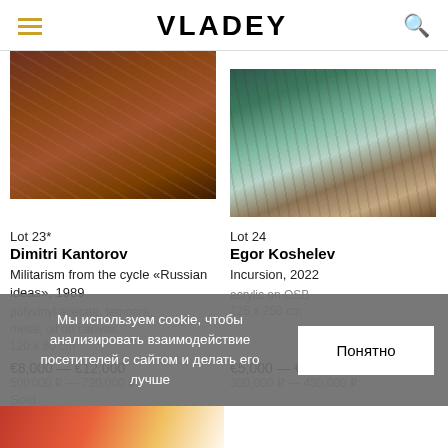VLADEY
[Figure (photo): Artwork photo: Dimitri Kantorov, Militarism from the cycle Russian ideas, 1989, embroidered fabric with decorative elements]
[Figure (photo): Artwork photo: Egor Koshelev, Incursion, 2022, acrylic on OSB, abstract with horn and tank imagery]
Lot 23*
Dimitri Kantorov
Militarism from the cycle «Russian ideas», 1989
polyvinyl acetate, tempera, metal, oil on canvas
120 x 80 cm
€8,000 — €12,000
500,000 ₽ — 720,000 ₽
Sold
Lot 24
Egor Koshelev
Incursion, 2022
acrylic on OSB
125 x 250 cm
€5,000 — €7,000
300,000 ₽ — 430,000 ₽
Мы используем cookie, чтобы анализировать взаимодействие посетителей с сайтом и делать его лучше
Понятно